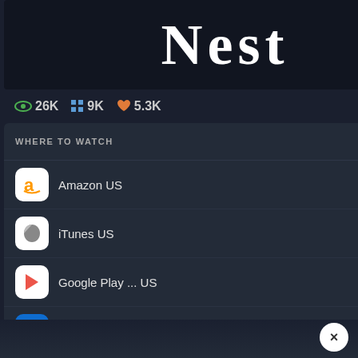[Figure (screenshot): Movie title 'Nest' displayed in large serif font on dark background]
👁 26K  ⊞ 9K  ♥ 5.3K
WHERE TO WATCH  ▶ Trailer
Amazon US  BUY
iTunes US  BUY
Google Play ... US  BUY
Vudu US  BUY
Go PRO to customize this list
All services...  ▶JustWatch
Review by belenc
De esas pelícu...
Review by Corgiz
I thought this w... being an asshol...
SIMILAR FILMS